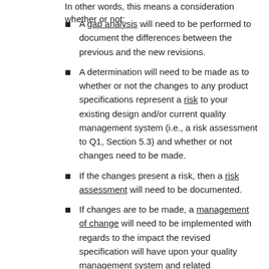In other words, this means a consideration whether or not:
A gap analysis will need to be performed to document the differences between the previous and the new revisions.
A determination will need to be made as to whether or not the changes to any product specifications represent a risk to your existing design and/or current quality management system (i.e., a risk assessment to Q1, Section 5.3) and whether or not changes need to be made.
If the changes present a risk, then a risk assessment will need to be documented.
If changes are to be made, a management of change will need to be implemented with regards to the impact the revised specification will have upon your quality management system and related documentation.
Upon making all the changes, relevant personnel will need to be trained, документация will be updated.